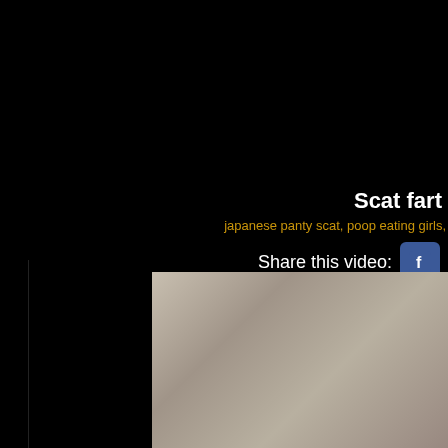Scat fart
japanese panty scat, poop eating girls,
Share this video:
[Figure (photo): Blurred close-up video thumbnail showing skin/body, muted beige and grey tones]